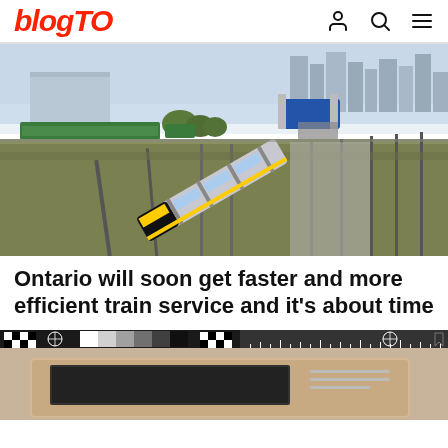blogTO
[Figure (photo): Aerial view of a GO Transit train yard with a yellow and grey passenger train on tracks, green commuter trains in background, city skyline visible, blue billboard structure, sunny day]
Ontario will soon get faster and more efficient train service and it's about time
[Figure (photo): Close-up of a camera color calibration chart / test card with black and white checkerboard patterns, grayscale bars, and a ruler, partially showing what appears to be a laptop or device below]